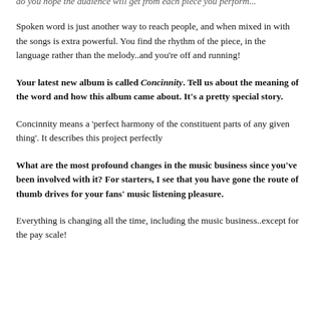do you hope the audience will get from each piece you perform...
Spoken word is just another way to reach people, and when mixed in with the songs is extra powerful. You find the rhythm of the piece, in the language rather than the melody..and you’re off and running!
Your latest new album is called Concinnity.  Tell us about the meaning of the word and how this album came about.  It’s a pretty special story.
Concinnity means a ‘perfect harmony of the constituent parts of any given thing’. It describes this project perfectly
What are the most profound changes in the music business since you’ve been involved with it?  For starters, I see that you have gone the route of thumb drives for your fans’ music listening pleasure.
Everything is changing all the time, including the music business..except for the pay scale!